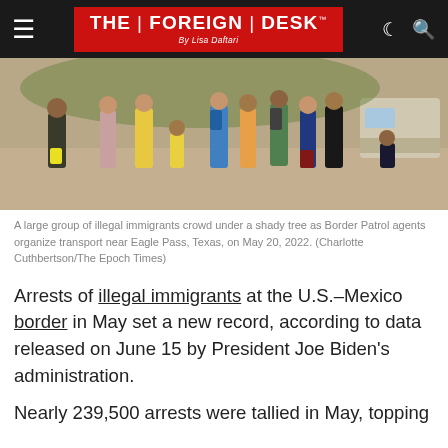THE FOREIGN DESK By Lisa Daftari
[Figure (photo): A large group of migrants/illegal immigrants standing under a shady tree on dirt ground near Eagle Pass, Texas, with a vehicle in the background, as Border Patrol agents organize transport.]
A large group of illegal immigrants crowd under a shady tree as Border Patrol agents organize transport near Eagle Pass, Texas, on May 20, 2022. (Charlotte Cuthbertson/The Epoch Times)
Arrests of illegal immigrants at the U.S.–Mexico border in May set a new record, according to data released on June 15 by President Joe Biden’s administration.
Nearly 239,500 arrests were tallied in May, topping